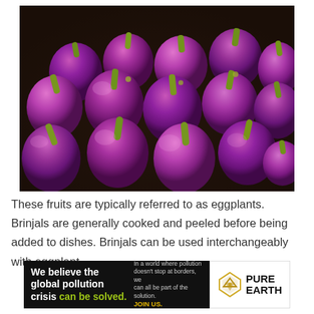[Figure (photo): Close-up photo of many small round purple/magenta eggplants (brinjals) with green stems, piled together on a dark surface.]
These fruits are typically referred to as eggplants. Brinjals are generally cooked and peeled before being added to dishes. Brinjals can be used interchangeably with eggplant.
[Figure (infographic): Advertisement banner for Pure Earth. Left black section reads 'We believe the global pollution crisis can be solved.' with tagline 'In a world where pollution doesn't stop at borders, we can all be part of the solution. JOIN US.' Right white section has the Pure Earth logo with a diamond/triangle shape and the text PURE EARTH.]